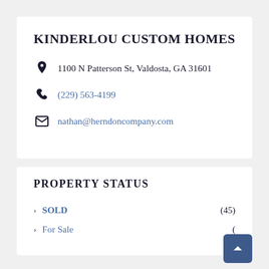KINDERLOU CUSTOM HOMES
1100 N Patterson St, Valdosta, GA 31601
(229) 563-4199
nathan@herndoncompany.com
PROPERTY STATUS
SOLD (45)
For Sale